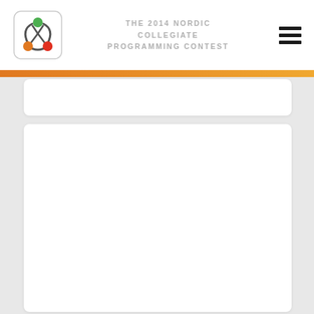THE 2014 NORDIC COLLEGIATE PROGRAMMING CONTEST
[Figure (logo): NCPC 2014 logo: triangular arrangement of three colored circles (green top, orange bottom-left, red bottom-right) with connecting arcs, inside a rounded square border]
[Figure (other): Hamburger menu icon: three horizontal black bars]